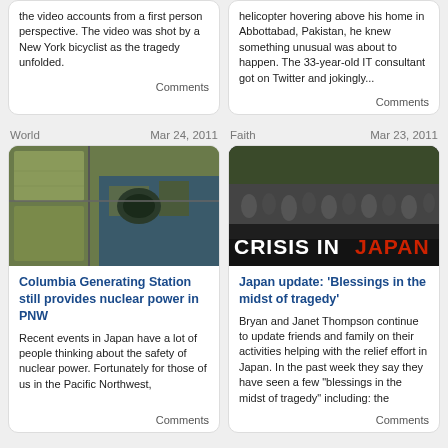the video accounts from a first person perspective. The video was shot by a New York bicyclist as the tragedy unfolded.
Comments
helicopter hovering above his home in Abbottabad, Pakistan, he knew something unusual was about to happen. The 33-year-old IT consultant got on Twitter and jokingly...
Comments
World
Mar 24, 2011
Faith
Mar 23, 2011
[Figure (photo): Aerial satellite view of Columbia Generating Station nuclear power plant]
[Figure (photo): Crowd of people with 'CRISIS IN JAPAN' overlay text, JAPAN in red]
Columbia Generating Station still provides nuclear power in PNW
Recent events in Japan have a lot of people thinking about the safety of nuclear power. Fortunately for those of us in the Pacific Northwest,
Comments
Japan update: 'Blessings in the midst of tragedy'
Bryan and Janet Thompson continue to update friends and family on their activities helping with the relief effort in Japan. In the past week they say they have seen a few "blessings in the midst of tragedy" including: the
Comments